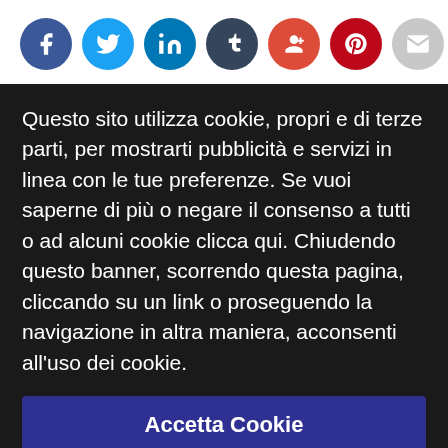[Figure (infographic): Row of 7 social media icon circles: Facebook (dark blue, f), Twitter (light blue, bird), LinkedIn (blue, in), Tumblr (dark blue, t), Google+ (red, g+), Pinterest (red, p), Email (gray, envelope)]
Questo sito utilizza cookie, propri e di terze parti, per mostrarti pubblicità e servizi in linea con le tue preferenze. Se vuoi saperne di più o negare il consenso a tutti o ad alcuni cookie clicca qui. Chiudendo questo banner, scorrendo questa pagina, cliccando su un link o proseguendo la navigazione in altra maniera, acconsenti all'uso dei cookie.
Accetta Cookie
Messaggio